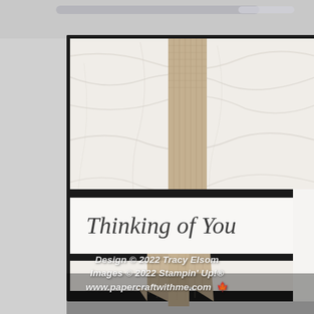[Figure (photo): Close-up photo of a handmade greeting card that reads 'Thinking of You' in elegant script on a white band. The card has a marbled/textured white and grey background paper mounted on black cardstock. A burlap/hessian ribbon is threaded through the card forming a bow with two swallow-tail ends. On the right side is another piece of the marbled paper and plain white cardstock. At the bottom of the image is a watermark reading 'Design © 2022 Tracy Elsom / Images © 2022 Stampin' Up!® / www.papercraftwithme.com' with a Canadian flag emoji.]